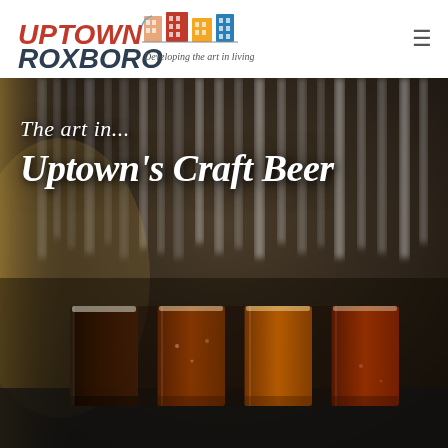[Figure (logo): Uptown Roxboro logo with building icons and tagline 'Developing the art in living']
[Figure (photo): Hero image of a craft beer bar showing beer taps in background and four glasses of beer (dark stout, amber, golden, and red/amber ales) in foreground. Overlaid text reads 'The art in... Uptown's Craft Beer']
The art in... Uptown's Craft Beer